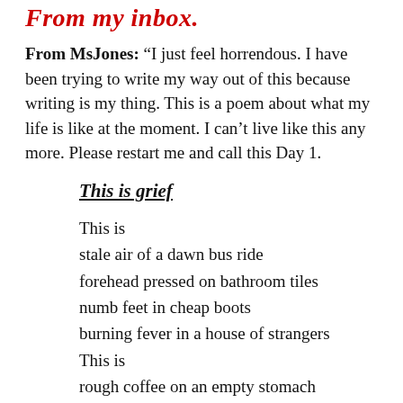From my inbox.
From MsJones: “I just feel horrendous. I have been trying to write my way out of this because writing is my thing. This is a poem about what my life is like at the moment. I can’t live like this any more. Please restart me and call this Day 1.
This is grief
This is
stale air of a dawn bus ride
forehead pressed on bathroom tiles
numb feet in cheap boots
burning fever in a house of strangers
This is
rough coffee on an empty stomach
kissing with mouth of tears
house with mould on the walls